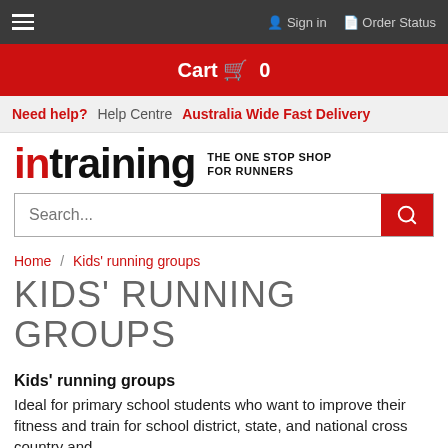≡   Sign in   Order Status
Cart  0
Need help?  Help Centre  Australia Wide Fast Delivery
[Figure (logo): intraining THE ONE STOP SHOP FOR RUNNERS logo]
Search...
Home / Kids' running groups
KIDS' RUNNING GROUPS
Kids' running groups
Ideal for primary school students who want to improve their fitness and train for school district, state, and national cross country and